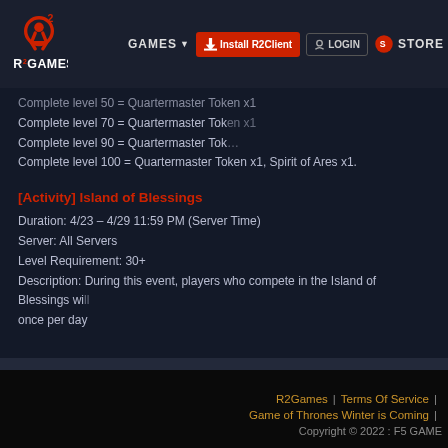R2GAMES | GAMES | STORE | Install R2Client | LOGIN
Complete level 50 = Quartermaster Token x1
Complete level 70 = Quartermaster Token x1
Complete level 90 = Quartermaster Tok…
Complete level 100 = Quartermaster Token x1, Spirit of Ares x1.
[Activity] Island of Blessings
Duration: 4/23 – 4/29 11:59 PM (Server Time)
Server: All Servers
Level Requirement: 30+
Description: During this event, players who compete in the Island of Blessings will once per day
R2Games | Terms Of Service | Game of Thrones Winter is Coming | Copyright © 2022 : F5 GAME